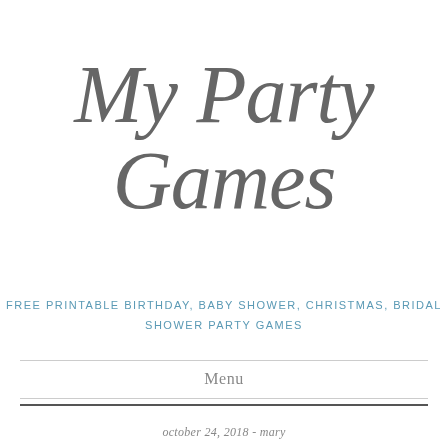My Party Games
FREE PRINTABLE BIRTHDAY, BABY SHOWER, CHRISTMAS, BRIDAL SHOWER PARTY GAMES
Menu
october 24, 2018 - mary